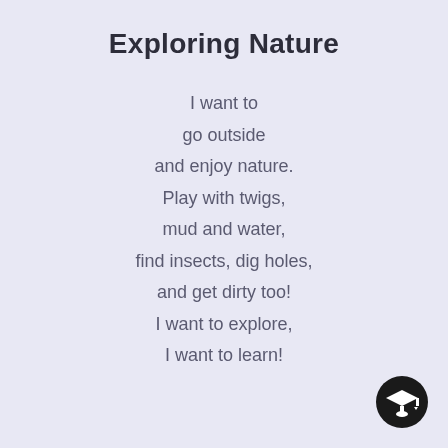Exploring Nature
I want to
go outside
and enjoy nature.
Play with twigs,
mud and water,
find insects, dig holes,
and get dirty too!
I want to explore,
I want to learn!
[Figure (logo): Graduation cap icon in a black circle, bottom right corner]